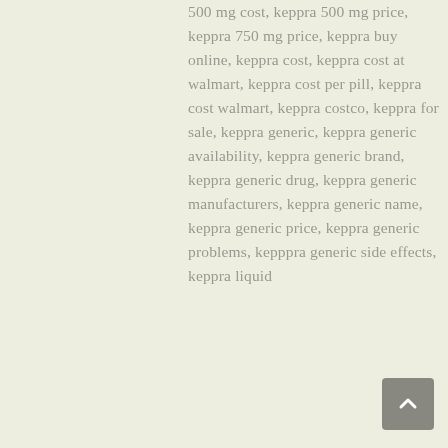500 mg cost, keppra 500 mg price, keppra 750 mg price, keppra buy online, keppra cost, keppra cost at walmart, keppra cost per pill, keppra cost walmart, keppra costco, keppra for sale, keppra generic, keppra generic availability, keppra generic brand, keppra generic drug, keppra generic manufacturers, keppra generic name, keppra generic price, keppra generic problems, kepppra generic side effects, keppra liquid